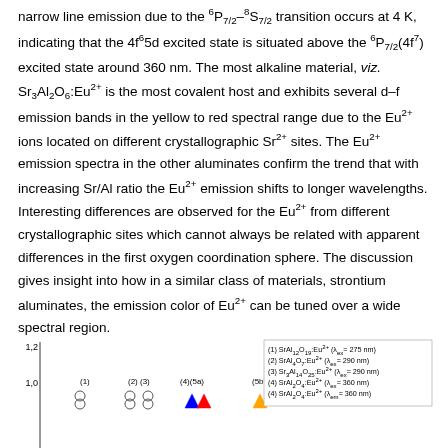narrow line emission due to the 6P7/2–8S7/2 transition occurs at 4 K, indicating that the 4f65d excited state is situated above the 6P7/2(4f7) excited state around 360 nm. The most alkaline material, viz. Sr3Al2O6:Eu2+ is the most covalent host and exhibits several d–f emission bands in the yellow to red spectral range due to the Eu2+ ions located on different crystallographic Sr2+ sites. The Eu2+ emission spectra in the other aluminates confirm the trend that with increasing Sr/Al ratio the Eu2+ emission shifts to longer wavelengths. Interesting differences are observed for the Eu2+ from different crystallographic sites which cannot always be related with apparent differences in the first oxygen coordination sphere. The discussion gives insight into how in a similar class of materials, strontium aluminates, the emission color of Eu2+ can be tuned over a wide spectral region.
[Figure (continuous-plot): Partial view of an emission spectrum chart showing y-axis label '1.2' and '1.0', with legend entries for (1) SrAl12O19:Eu2+ (λex=275 nm), (2) SrAl4O7:Eu2+ (λex=290 nm), (3) Sr3Al14O25:Eu2+ (λex=290 nm), (4) SrAl2O4:Eu2+ (λex=360 nm), and colored peak markers labeled (1) through (4)(5a)/(5b) along x-axis.]